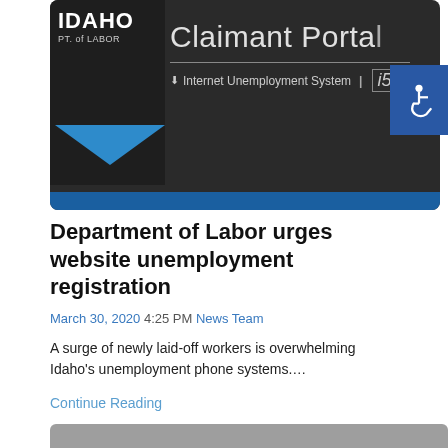[Figure (photo): Screenshot of Idaho Department of Labor Claimant Portal - Internet Unemployment System (IUS) website, with blue bar at bottom, Idaho DOL logo on left, and accessibility button overlay on right.]
Department of Labor urges website unemployment registration
March 30, 2020 4:25 PM News Team
A surge of newly laid-off workers is overwhelming Idaho's unemployment phone systems.…
Continue Reading